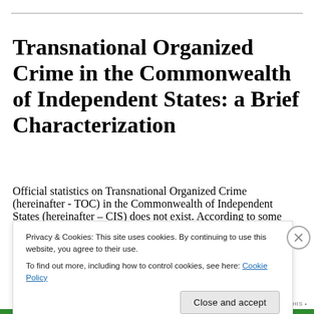Transnational Organized Crime in the Commonwealth of Independent States: a Brief Characterization
Official statistics on Transnational Organized Crime (hereinafter - TOC) in the Commonwealth of Independent States (hereinafter – CIS) does not exist. According to some experts, more than 300 organized groups and
Privacy & Cookies: This site uses cookies. By continuing to use this website, you agree to their use.
To find out more, including how to control cookies, see here: Cookie Policy
Close and accept